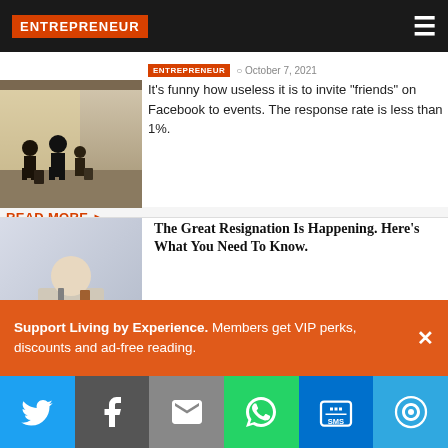ENTREPRENEUR
[Figure (photo): Silhouettes of people with luggage at an airport terminal]
ENTREPRENEUR  October 7, 2021
It's funny how useless it is to invite "friends" on Facebook to events. The response rate is less than 1%.
READ MORE ▶
The Great Resignation Is Happening. Here's What You Need To Know.
[Figure (photo): Person holding a cardboard box with a RESIGNATION sign on it]
ENTREPRENEUR  October 1, 2021
In the last few weeks, I'm seeing a significant increase in employees posting about their great resignation and sharing heroic updates about their "two months in" on social media. Congratulations, by the way. The journey you've started is an exciting one, and you're in for a ride. On the
Support Living by Experience. Members get VIP perks, discounts and ad-free reading.